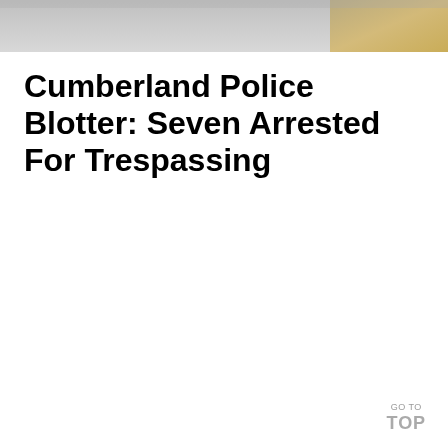[Figure (photo): Header image showing a blurred/faded background photo with grey tones on the left and warm brown/golden tones on the right]
Cumberland Police Blotter: Seven Arrested For Trespassing
GO TO TOP